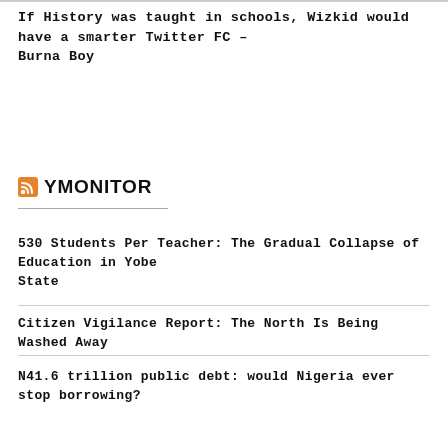If History was taught in schools, Wizkid would have a smarter Twitter FC – Burna Boy
YMONITOR
530 Students Per Teacher: The Gradual Collapse of Education in Yobe State
Citizen Vigilance Report: The North Is Being Washed Away
N41.6 trillion public debt: would Nigeria ever stop borrowing?